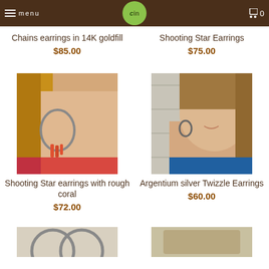menu | GIN logo | 0 cart
Chains earrings in 14K goldfill
$85.00
Shooting Star Earrings
$75.00
[Figure (photo): Woman wearing large hoop Shooting Star earrings with rough coral, close-up side profile]
[Figure (photo): Woman wearing Argentium silver Twizzle Earrings, facing slightly right, smiling]
Shooting Star earrings with rough coral
$72.00
Argentium silver Twizzle Earrings
$60.00
[Figure (photo): Partial view of earrings product image, bottom of page left column]
[Figure (photo): Partial view of earrings product image, bottom of page right column]